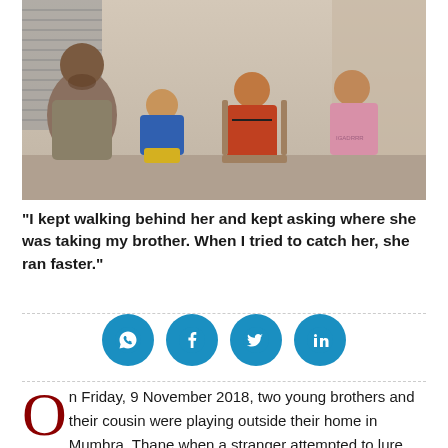[Figure (photo): A man and three young boys sitting together outdoors against a wall with a metal shutter. The man is on the left, and three children of varying ages are seated beside him.]
"I kept walking behind her and kept asking where she was taking my brother. When I tried to catch her, she ran faster."
[Figure (infographic): Social sharing icons: WhatsApp, Facebook, Twitter, LinkedIn — blue circles with white icons]
On Friday, 9 November 2018, two young brothers and their cousin were playing outside their home in Mumbra, Thane when a stranger attempted to lure